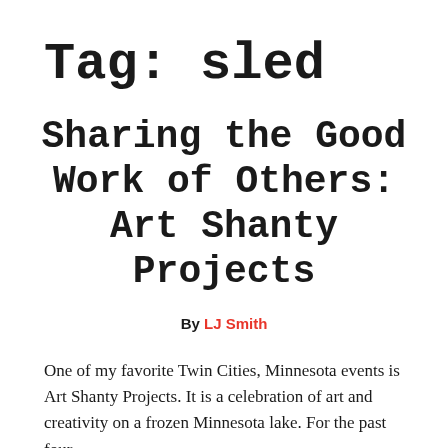Tag: sled
Sharing the Good Work of Others: Art Shanty Projects
By LJ Smith
One of my favorite Twin Cities, Minnesota events is Art Shanty Projects. It is a celebration of art and creativity on a frozen Minnesota lake. For the past four